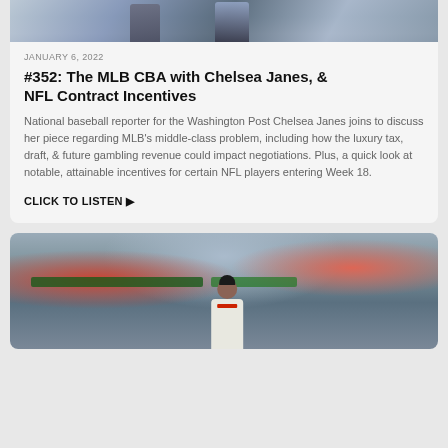[Figure (photo): Top portion of a photo showing two people, partially cropped at the top of the page]
JANUARY 6, 2022
#352: The MLB CBA with Chelsea Janes, & NFL Contract Incentives
National baseball reporter for the Washington Post Chelsea Janes joins to discuss her piece regarding MLB's middle-class problem, including how the luxury tax, draft, & future gambling revenue could impact negotiations. Plus, a quick look at notable, attainable incentives for certain NFL players entering Week 18.
CLICK TO LISTEN ▶
[Figure (photo): Football player in white uniform on a field with crowd in the background]